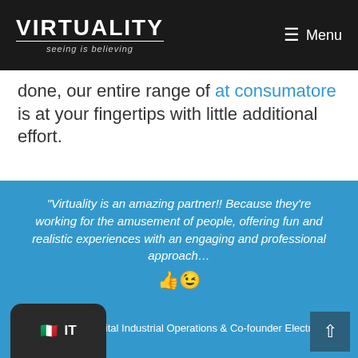VIRTUALITY seeing is believing
done, our entire range of at consumatore is at your fingertips with little additional effort.
"Virtuality is an amazing partner!! Because they're working for the amusement of people, offering fun and realistic experiences with an engaging and professional approach... 👍😉
Giovanni Pacini
Global Director Digital Industrial Operations & Co-founder Electrolux Innovation Factory